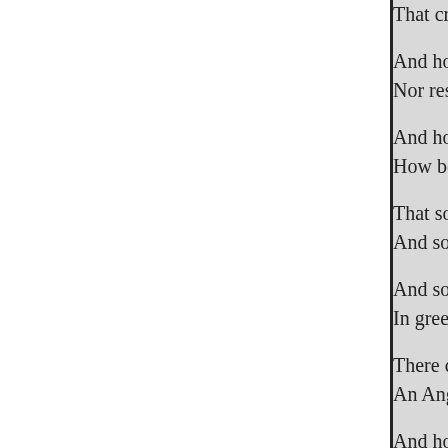That crazed this bold and
And how he roam'd the mo
Nor rested day or night.
And how he cross'd the woodma
How boughs rebounding scourge
That sometimes from the sa
And sometimes from the d
And sometimes starting up
In green and sunny glade;
There came and look'd him
An Angel beautiful and br
And how he knew it was a
This miserable Knight!
And how, unknowing what
He leapt amid a lawless ba
And saved from outrage wo
The Ladie of the Land